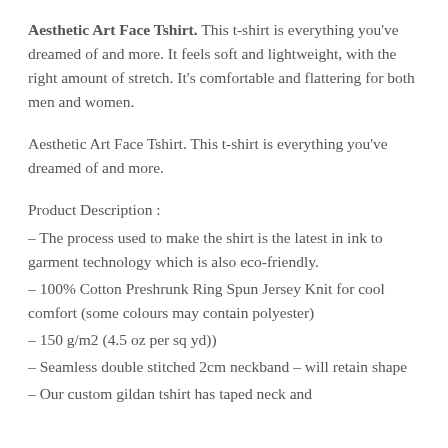Aesthetic Art Face Tshirt. This t-shirt is everything you've dreamed of and more. It feels soft and lightweight, with the right amount of stretch. It's comfortable and flattering for both men and women.
Aesthetic Art Face Tshirt. This t-shirt is everything you've dreamed of and more.
Product Description :
– The process used to make the shirt is the latest in ink to garment technology which is also eco-friendly.
– 100% Cotton Preshrunk Ring Spun Jersey Knit for cool comfort (some colours may contain polyester)
– 150 g/m2 (4.5 oz per sq yd))
– Seamless double stitched 2cm neckband – will retain shape
– Our custom gildan tshirt has taped neck and